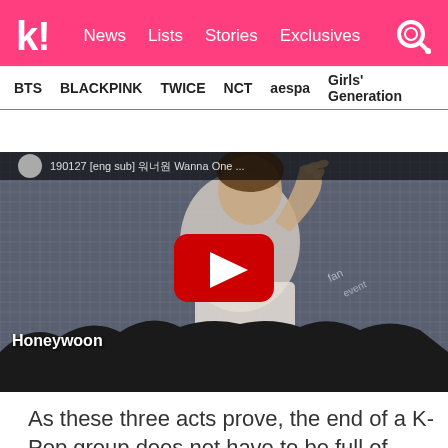k! News  Lists  Stories  Exclusives
BTS  BLACKPINK  TWICE  NCT  aespa  Girls' Generation
[Figure (screenshot): YouTube video thumbnail showing a K-Pop idol waving at a fan event, with 'Honeywoon' label in bottom left, YouTube play button in center, and text overlay at top reading '190127 [eng sub] Wanna One ...']
As these three acts prove, the end of a K-Pop group does not have to be full of sadness. Fans can be given time to digest their group's disband­ment and shower the members with the